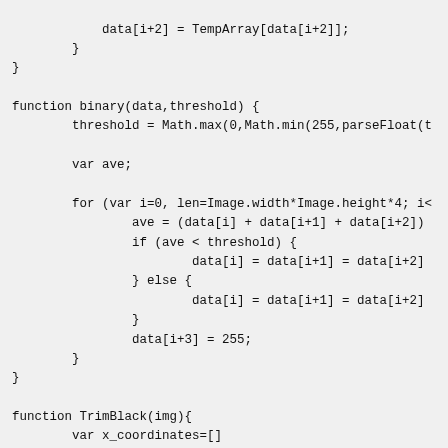Code snippet showing JavaScript functions: binary(data,threshold) and TrimBlack(img)